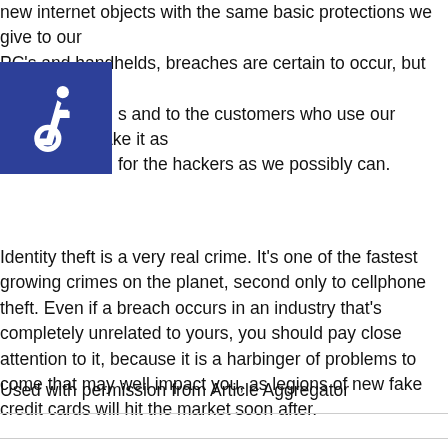new internet objects with the same basic protections we give to our PC's and handhelds, breaches are certain to occur, but we owe it to s and to the customers who use our services to make it as for the hackers as we possibly can.
[Figure (illustration): Wheelchair accessibility icon — white wheelchair symbol on dark blue square background]
Identity theft is a very real crime. It's one of the fastest growing crimes on the planet, second only to cellphone theft. Even if a breach occurs in an industry that's completely unrelated to yours, you should pay close attention to it, because it is a harbinger of problems to come that may well impact you, as legions of new fake credit cards will hit the market soon after.
Used with permission from Article Aggregator